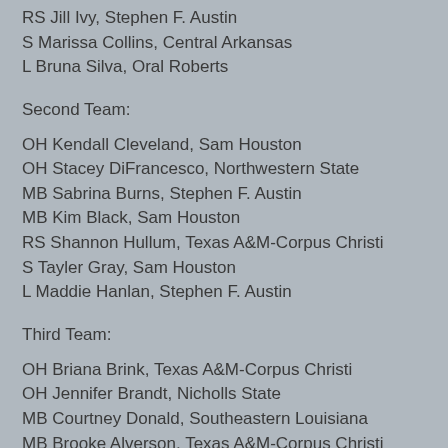RS Jill Ivy, Stephen F. Austin
S Marissa Collins, Central Arkansas
L Bruna Silva, Oral Roberts
Second Team:
OH Kendall Cleveland, Sam Houston
OH Stacey DiFrancesco, Northwestern State
MB Sabrina Burns, Stephen F. Austin
MB Kim Black, Sam Houston
RS Shannon Hullum, Texas A&M-Corpus Christi
S Tayler Gray, Sam Houston
L Maddie Hanlan, Stephen F. Austin
Third Team:
OH Briana Brink, Texas A&M-Corpus Christi
OH Jennifer Brandt, Nicholls State
MB Courtney Donald, Southeastern Louisiana
MB Brooke Alverson, Texas A&M-Corpus Christi
RS Mackenzie Neely, Northwestern State
S Laura Taylor, Oral Roberts